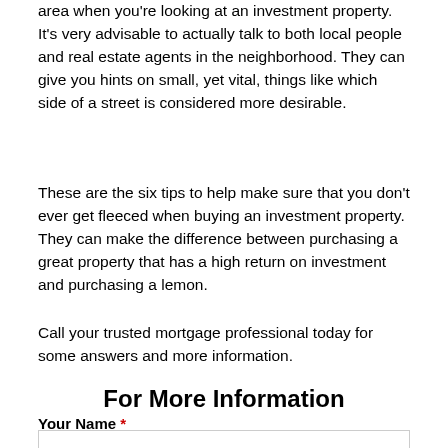area when you're looking at an investment property. It's very advisable to actually talk to both local people and real estate agents in the neighborhood. They can give you hints on small, yet vital, things like which side of a street is considered more desirable.
These are the six tips to help make sure that you don't ever get fleeced when buying an investment property. They can make the difference between purchasing a great property that has a high return on investment and purchasing a lemon.
Call your trusted mortgage professional today for some answers and more information.
For More Information
Your Name *